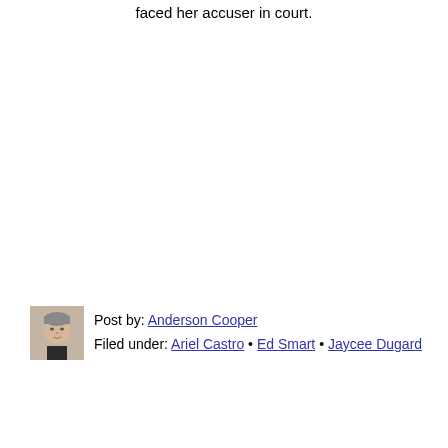faced her accuser in court.
[Figure (photo): Headshot photo of Anderson Cooper]
Post by: Anderson Cooper
Filed under: Ariel Castro • Ed Smart • Jaycee Dugard